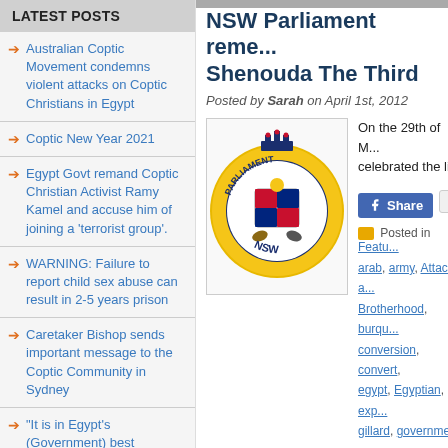LATEST POSTS
Australian Coptic Movement condemns violent attacks on Coptic Christians in Egypt
Coptic New Year 2021
Egypt Govt remand Coptic Christian Activist Ramy Kamel and accuse him of joining a 'terrorist group'.
WARNING: Failure to report child sex abuse can result in 2-5 years prison
Caretaker Bishop sends important message to the Coptic Community in Sydney
“It is in Egypt’s (Government) best
NSW Parliament reme... Shenouda The Third
Posted by Sarah on April 1st, 2012
[Figure (logo): NSW Parliament circular seal/badge with crown, coat of arms, kangaroo and emu, and 'PARLIAMENT NSW' text on gold ring]
On the 29th of M... celebrated the li...
Posted in Featured... arab, army, Attack, a... Brotherhood, burqu... conversion, convert,... egypt, Egyptian, exp... gillard, government,... intolerance, Islam, Islamists, journalism, justice, k... Middle East, Military, murder, Muslim, nightmare,... Revolution, riot, Salafist, Saudi Arabia., security, t... violence, war, women, Zawahiri's · No Comm...
House of Representa...